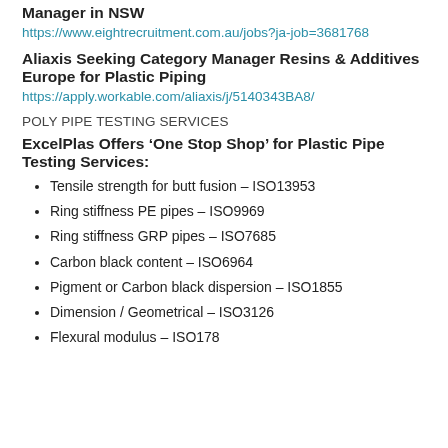Manager in NSW
https://www.eightrecruitment.com.au/jobs?ja-job=3681768
Aliaxis Seeking Category Manager Resins & Additives Europe for Plastic Piping
https://apply.workable.com/aliaxis/j/5140343BA8/
POLY PIPE TESTING SERVICES
ExcelPlas Offers ‘One Stop Shop’ for Plastic Pipe Testing Services:
Tensile strength for butt fusion – ISO13953
Ring stiffness PE pipes – ISO9969
Ring stiffness GRP pipes – ISO7685
Carbon black content – ISO6964
Pigment or Carbon black dispersion – ISO1855
Dimension / Geometrical – ISO3126
Flexural modulus – ISO178